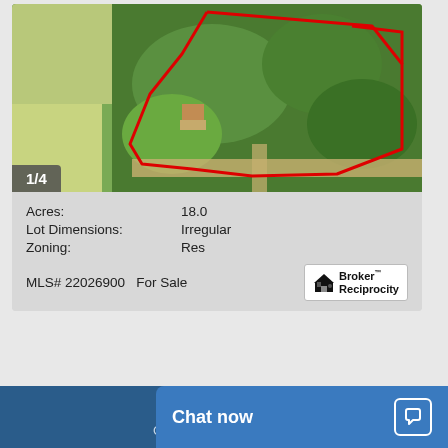[Figure (photo): Aerial photo of an 18-acre residential property with a red boundary outline showing an irregular lot with trees and buildings in the center, surrounded by fields and a dirt road.]
1/4
| Acres: | 18.0 |
| Lot Dimensions: | Irregular |
| Zoning: | Res |
MLS# 22026900   For Sale
[Figure (logo): Broker Reciprocity logo with house icon]
8
Grosse
Chat now